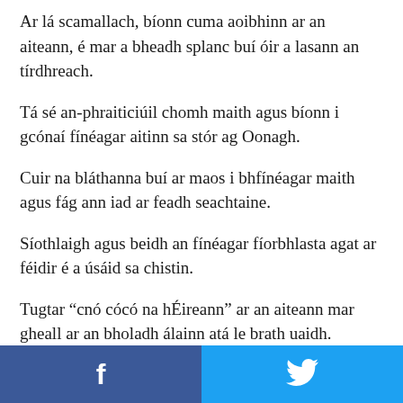Ar lá scamallach, bíonn cuma aoibhinn ar an aiteann, é mar a bheadh splanc buí óir a lasann an tírdhreach.
Tá sé an-phraiticiúil chomh maith agus bíonn i gcónaí fínéagar aitinn sa stór ag Oonagh.
Cuir na bláthanna buí ar maos i bhfínéagar maith agus fág ann iad ar feadh seachtaine.
Síothlaigh agus beidh an fínéagar fíorbhlasta agat ar féidir é a úsáid sa chistin.
Tugtar “cnó cócó na hÉireann” ar an aiteann mar gheall ar an bholadh álainn atá le brath uaidh.
[Figure (other): Social media share buttons: Facebook (blue, left) and Twitter (light blue, right) at the bottom of the page.]